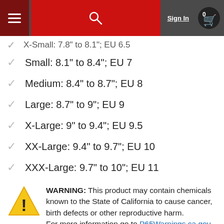Sign In | Navigation bar with hamburger menu, search, sign in, and cart (0)
X-Small: 7.8" to 8.1"; EU 6.5
Small: 8.1" to 8.4"; EU 7
Medium: 8.4" to 8.7"; EU 8
Large: 8.7" to 9"; EU 9
X-Large: 9" to 9.4"; EU 9.5
XX-Large: 9.4" to 9.7"; EU 10
XXX-Large: 9.7" to 10"; EU 11
WARNING: This product may contain chemicals known to the State of California to cause cancer, birth defects or other reproductive harm. For more information go to P65Warnings.ca.gov